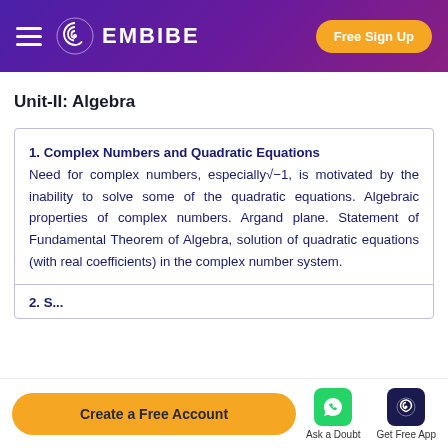EMBIBE | Free Sign Up
Unit-II: Algebra
1. Complex Numbers and Quadratic Equations Need for complex numbers, especially√−1, is motivated by the inability to solve some of the quadratic equations. Algebraic properties of complex numbers. Argand plane. Statement of Fundamental Theorem of Algebra, solution of quadratic equations (with real coefficients) in the complex number system.
2. S...
Create a Free Account | Ask a Doubt | Get Free App